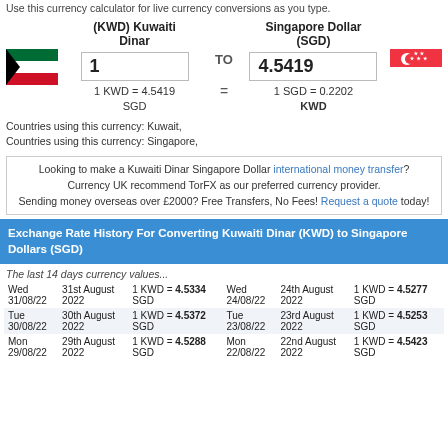Use this currency calculator for live currency conversions as you type.
[Figure (illustration): Kuwait flag icon (black, white, green, red horizontal stripes with red triangle)]
(KWD) Kuwaiti Dinar
TO
Singapore Dollar (SGD)
[Figure (illustration): Singapore flag icon (red top half with white crescent and stars, white bottom half)]
1
4.5419
1 KWD = 4.5419 SGD
1 SGD = 0.2202 KWD
Countries using this currency: Kuwait,
Countries using this currency: Singapore,
Looking to make a Kuwaiti Dinar Singapore Dollar international money transfer? Currency UK recommend TorFX as our preferred currency provider.
Sending money overseas over £2000? Free Transfers, No Fees! Request a quote today!
Exchange Rate History For Converting Kuwaiti Dinar (KWD) to Singapore Dollars (SGD)
The last 14 days currency values...
| Day | Date | Rate | Day | Date | Rate |
| --- | --- | --- | --- | --- | --- |
| Wed 31/08/22 | 31st August 2022 | 1 KWD = 4.5334 SGD | Wed 24/08/22 | 24th August 2022 | 1 KWD = 4.5277 SGD |
| Tue 30/08/22 | 30th August 2022 | 1 KWD = 4.5372 SGD | Tue 23/08/22 | 23rd August 2022 | 1 KWD = 4.5253 SGD |
| Mon 29/08/22 | 29th August 2022 | 1 KWD = 4.5288 SGD | Mon 22/08/22 | 22nd August 2022 | 1 KWD = 4.5423 SGD |